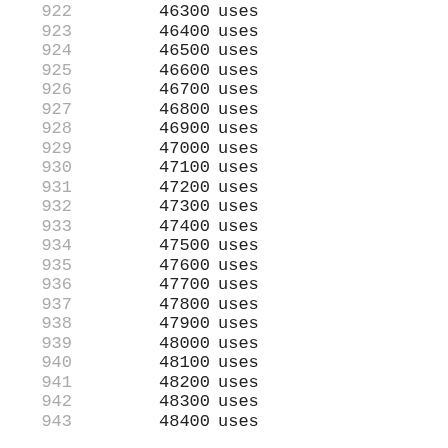922   46300 uses
923   46400 uses
924   46500 uses
925   46600 uses
926   46700 uses
927   46800 uses
928   46900 uses
929   47000 uses
930   47100 uses
931   47200 uses
932   47300 uses
933   47400 uses
934   47500 uses
935   47600 uses
936   47700 uses
937   47800 uses
938   47900 uses
939   48000 uses
940   48100 uses
941   48200 uses
942   48300 uses
943   48400 uses